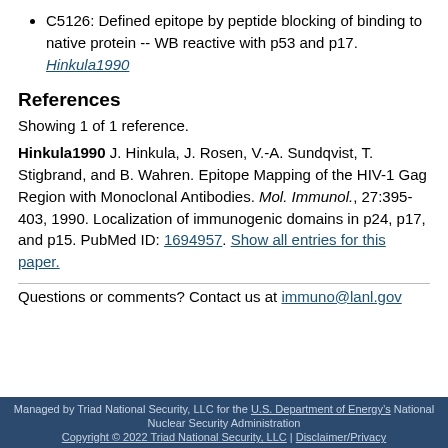C5126: Defined epitope by peptide blocking of binding to native protein -- WB reactive with p53 and p17. Hinkula1990
References
Showing 1 of 1 reference.
Hinkula1990 J. Hinkula, J. Rosen, V.-A. Sundqvist, T. Stigbrand, and B. Wahren. Epitope Mapping of the HIV-1 Gag Region with Monoclonal Antibodies. Mol. Immunol., 27:395-403, 1990. Localization of immunogenic domains in p24, p17, and p15. PubMed ID: 1694957. Show all entries for this paper.
Questions or comments? Contact us at immuno@lanl.gov
Managed by Triad National Security, LLC for the U.S. Department of Energyâs National Nuclear Security Administration | Copyright © 2022 Triad National Security, LLC | Disclaimer/Privacy